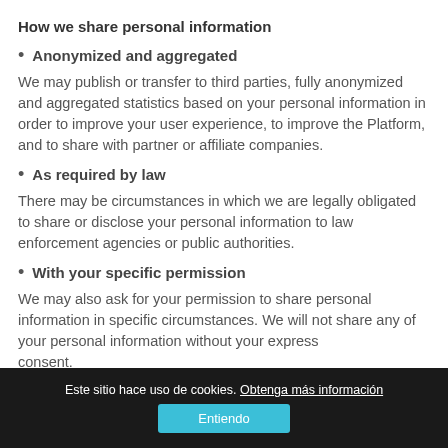How we share personal information
Anonymized and aggregated
We may publish or transfer to third parties, fully anonymized and aggregated statistics based on your personal information in order to improve your user experience, to improve the Platform, and to share with partner or affiliate companies.
As required by law
There may be circumstances in which we are legally obligated to share or disclose your personal information to law enforcement agencies or public authorities.
With your specific permission
We may also ask for your permission to share personal information in specific circumstances. We will not share any of your personal information without your express consent.
Este sitio hace uso de cookies. Obtenga más información Entiendo